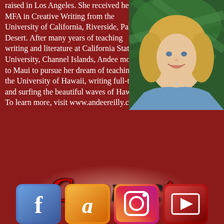raised in Los Angeles. She received her MFA in Creative Writing from the University of California, Riverside, Palm Desert. After many years of teaching writing and literature at California State University, Channel Islands, Andee moved to Maui to pursue her dream of teaching at the University of Hawaii, writing full-time, and surfing the beautiful waves of Hawaii. To learn more, visit www.andeereilly.com
[Figure (photo): Headshot of a blonde woman smiling, wearing a blue top, with green palm fronds in the background]
Connect
[Figure (illustration): Four social media icon buttons at the bottom: Facebook (blue with f), Google/Amazon (orange with A), Instagram/rainbow multicolor, and an additional red/dark icon]